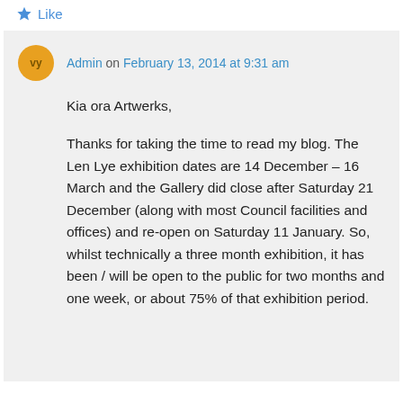Like
Admin on February 13, 2014 at 9:31 am
Kia ora Artwerks,

Thanks for taking the time to read my blog. The Len Lye exhibition dates are 14 December – 16 March and the Gallery did close after Saturday 21 December (along with most Council facilities and offices) and re-open on Saturday 11 January. So, whilst technically a three month exhibition, it has been / will be open to the public for two months and one week, or about 75% of that exhibition period.